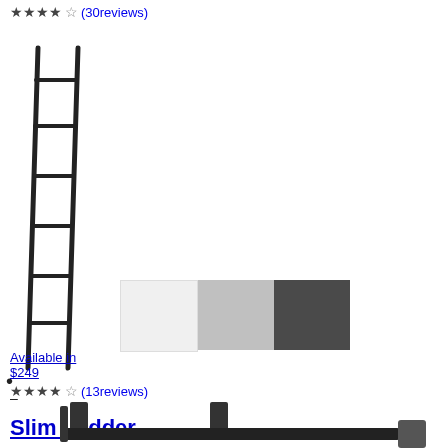★★★★☆ (30reviews)
[Figure (photo): Black slim ladder leaning product photo]
• bullet point
–
Slim Ladder
[Figure (other): Color swatches: white, light gray, dark gray]
Available in
$249
★★★★☆ (13reviews)
[Figure (photo): Black wall-mounted shelf bracket product photo]